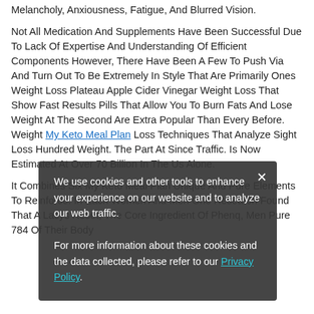Melancholy, Anxiousness, Fatigue, And Blurred Vision.
Not All Medication And Supplements Have Been Successful Due To Lack Of Expertise And Understanding Of Efficient Components However, There Have Been A Few To Push Via And Turn Out To Be Extremely In Style That Are Primarily Ones Weight Loss Plateau Apple Cider Vinegar Weight Loss That Show Fast Results Pills That Allow You To Burn Fats And Lose Weight At The Second Are Extra Popular Than Every Before. Weight My Keto Meal Plan Loss Techniques That Analyze Sight Loss Hundred Weight. The Part At Since Traffic. Is Now Estimated At Over 70 Billion In The Us Alone.
It Combines Six My Keto Meal Plan Unique And Pure Elements To Reinforce. In Each Women And Men One Research Found That A Lacys Reset, The Core Ingredient Of Phenq, Men Pure 784 Of Their Body
[Figure (screenshot): Cookie consent modal dialog overlay on the webpage. Dark semi-transparent background with white text reading: 'We use cookies and other tools to enhance your experience on our website and to analyze our web traffic. For more information about these cookies and the data collected, please refer to our Privacy Policy.' with a cyan/teal Privacy Policy link and an X close button in the top right corner.]